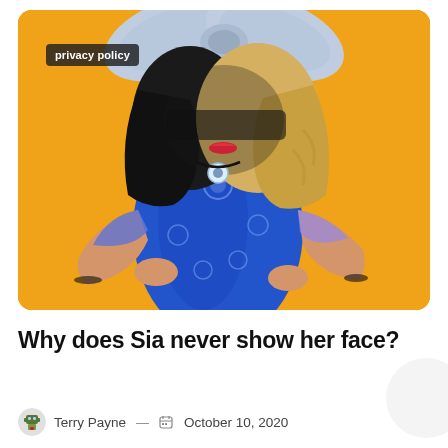[Figure (photo): Woman wearing a large gray bow headpiece and two-toned wig (black and blonde), dressed in a blue floral embroidered gown, posing against an orange/yellow background. A 'privacy policy' badge overlay appears in the upper left of the image.]
Why does Sia never show her face?
Terry Payne — October 10, 2020